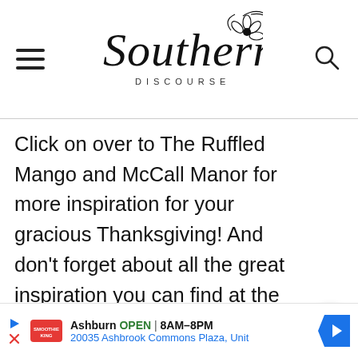Southern Discourse
Click on over to The Ruffled Mango and McCall Manor for more inspiration for your gracious Thanksgiving!  And don't forget about all the great inspiration you can find at the ASD Thanksgiving House!
[Figure (infographic): Sidebar UI controls: scroll-up arrow button, 64 count, heart/like button, and teal search button]
[Figure (infographic): Advertisement bar: Smoothie King logo, Ashburn OPEN 8AM-8PM, 20035 Ashbrook Commons Plaza, Unit, with blue diamond navigation arrow]